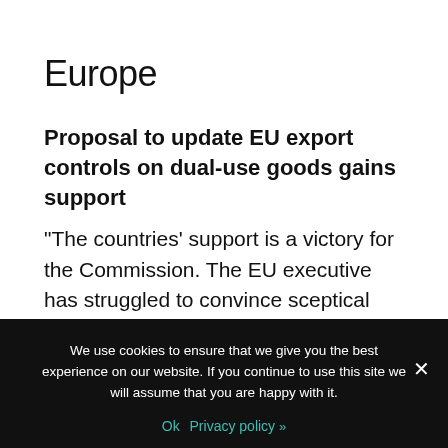Europe
Proposal to update EU export controls on dual-use goods gains support
“The countries’ support is a victory for the Commission. The EU executive has struggled to convince sceptical member states and tech firms that there is a need to update the bloc’s export control rules by adding on human rights safeguards and restrictions on how firms sell surveillance software to foreign countries. With
We use cookies to ensure that we give you the best experience on our website. If you continue to use this site we will assume that you are happy with it.
Ok  Privacy policy »